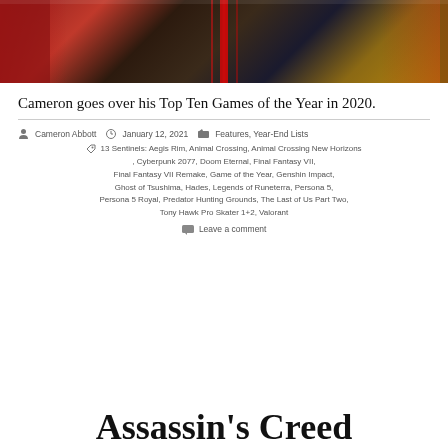[Figure (photo): Collage of video game characters against dark red backgrounds, divided into panels by red borders]
Cameron goes over his Top Ten Games of the Year in 2020.
Cameron Abbott · January 12, 2021 · Features, Year-End Lists
13 Sentinels: Aegis Rim, Animal Crossing, Animal Crossing New Horizons, Cyberpunk 2077, Doom Eternal, Final Fantasy VII, Final Fantasy VII Remake, Game of the Year, Genshin Impact, Ghost of Tsushima, Hades, Legends of Runeterra, Persona 5, Persona 5 Royal, Predator Hunting Grounds, The Last of Us Part Two, Tony Hawk Pro Skater 1+2, Valorant
Leave a comment
Assassin's Creed